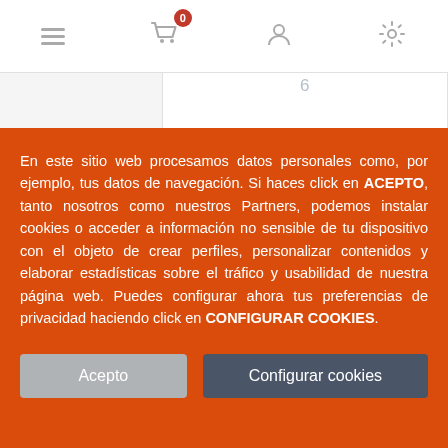[Figure (screenshot): Top navigation bar with hamburger menu, shopping cart with badge showing 0, user icon, and settings icon]
6
RELOJ PARED LATA DE SOPA DE...
9,39 €
En este sitio web procesamos datos personales como, por ejemplo, tus datos de navegación. Si haces click en ACEPTO, tanto nosotros como nuestros Partners, podemos instalar cookies o acceder a información no sensible de tu dispositivo con el objeto de crear perfiles, personalizar contenidos y elaborar estadísticas sobre el tráfico y usabilidad de nuestra página web. Puedes configurar ahora tus preferencias de privacidad haciendo click en CONFIGURAR COOKIES.
Acepto
Configurar cookies